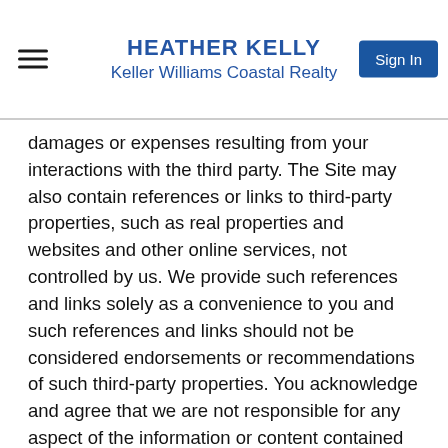HEATHER KELLY
Keller Williams Coastal Realty
damages or expenses resulting from your interactions with the third party. The Site may also contain references or links to third-party properties, such as real properties and websites and other online services, not controlled by us. We provide such references and links solely as a convenience to you and such references and links should not be considered endorsements or recommendations of such third-party properties. You acknowledge and agree that we are not responsible for any aspect of the information or content contained in any third-party properties. You agree that we are not responsible for any injury, harm, damages, or negative experience you may encounter by accessing, visiting, or using such third-party properties. If you access, visit, or use any third-party properties referred to on the Site, you do so at your own risk. For the avoidance of doubt, this Agreement applies solely to the Site and does not apply to any third party website that may be accessed via third party links on the Site. We encourage you to